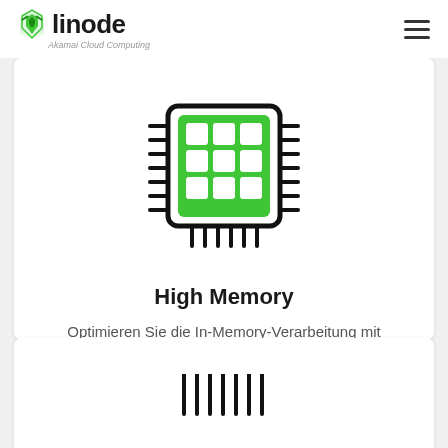linode – Akamai Cloud Computing
[Figure (illustration): Memory/RAM chip icon with green grid of 9 squares on a black chip outline with connection pins on all four sides]
High Memory
Optimieren Sie die In-Memory-Verarbeitung mit speicheroptimierten Instanzen, wenn Sie mehr RAM benötigen, ohne den Speicher oder die CPUs zu vergrößern.
[Figure (illustration): Partial bottom chip icon showing only the bottom pin row of another chip (next card)]